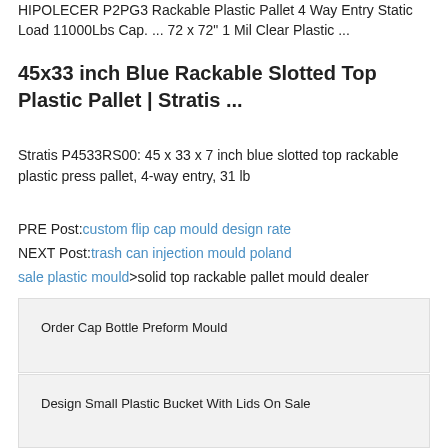HIPOLECER P2PG3 Rackable Plastic Pallet 4 Way Entry Static Load 11000Lbs Cap. ... 72 x 72" 1 Mil Clear Plastic ...
45x33 inch Blue Rackable Slotted Top Plastic Pallet | Stratis ...
Stratis P4533RS00: 45 x 33 x 7 inch blue slotted top rackable plastic press pallet, 4-way entry, 31 lb
PRE Post: custom flip cap mould design rate
NEXT Post: trash can injection mould poland
sale plastic mould>solid top rackable pallet mould dealer
Order Cap Bottle Preform Mould
Design Small Plastic Bucket With Lids On Sale